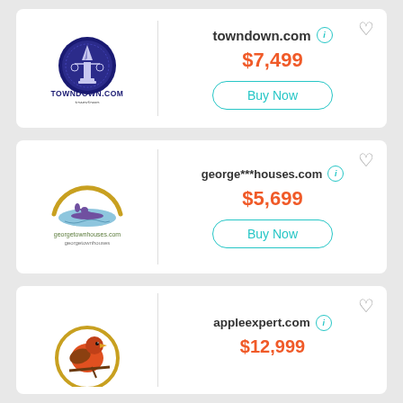[Figure (logo): towndown.com circular logo with pen/quill on column, dark blue, with TOWNDOWN.COM text below]
towndown.com
$7,499
Buy Now
[Figure (logo): georgetownhouses.com logo with person in canoe inside golden arc, georgetownhouses.com text below]
george***houses.com
$5,699
Buy Now
[Figure (logo): appleexpert.com logo with red bird/robin, partially visible]
appleexpert.com
$12,999